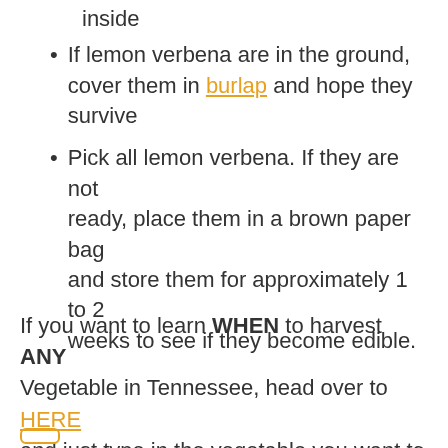inside
If lemon verbena are in the ground, cover them in burlap and hope they survive
Pick all lemon verbena. If they are not ready, place them in a brown paper bag and store them for approximately 1 to 2 weeks to see if they become edible.
If you want to learn WHEN to harvest ANY Vegetable in Tennessee, head over to HERE and just type in the vegetable you want to grow.